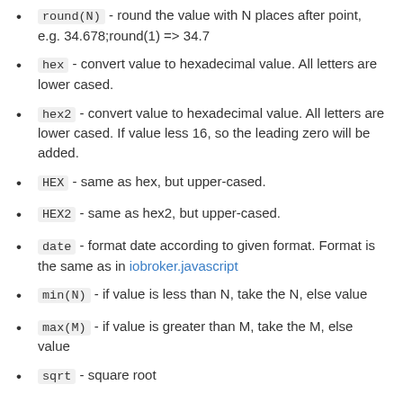round(N) - round the value with N places after point, e.g. 34.678;round(1) => 34.7
hex - convert value to hexadecimal value. All letters are lower cased.
hex2 - convert value to hexadecimal value. All letters are lower cased. If value less 16, so the leading zero will be added.
HEX - same as hex, but upper-cased.
HEX2 - same as hex2, but upper-cased.
date - format date according to given format. Format is the same as in iobroker.javascript
min(N) - if value is less than N, take the N, else value
max(M) - if value is greater than M, take the M, else value
sqrt - square root